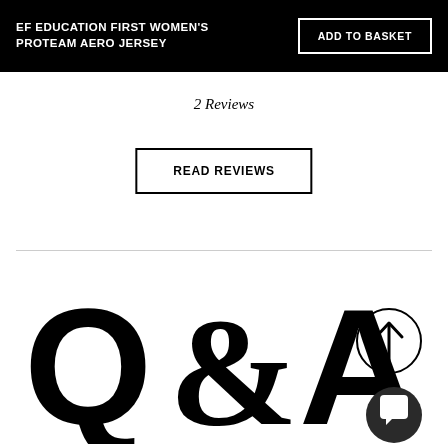EF EDUCATION FIRST WOMEN'S PROTEAM AERO JERSEY
ADD TO BASKET
2 Reviews
READ REVIEWS
[Figure (illustration): Large bold black Q&A letters with decorative ampersand, accompanied by a circle with an upward arrow icon and a speech bubble chat icon, representing a Q&A section of a product page.]